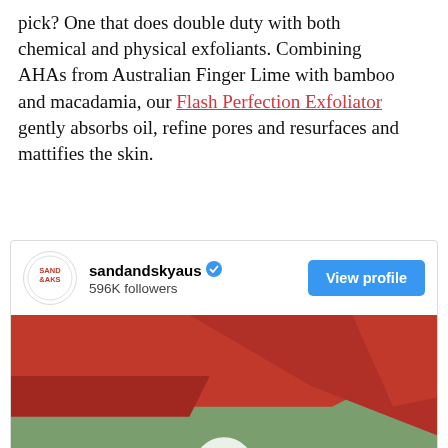pick? One that does double duty with both chemical and physical exfoliants. Combining AHAs from Australian Finger Lime with bamboo and macadamia, our Flash Perfection Exfoliator gently absorbs oil, refine pores and resurfaces and mattifies the skin.
[Figure (screenshot): Instagram profile card for sandandskyaus with 596K followers and a View Profile button, showing a close-up video thumbnail of pink exfoliator product being squeezed from a red tube, with a play button overlay.]